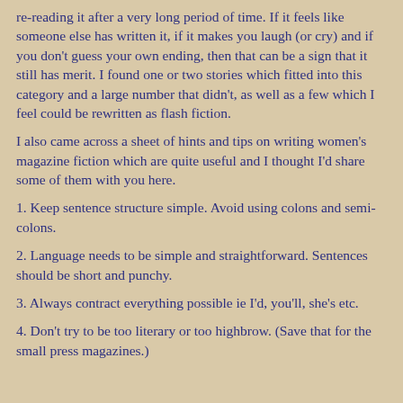re-reading it after a very long period of time. If it feels like someone else has written it, if it makes you laugh (or cry) and if you don't guess your own ending, then that can be a sign that it still has merit. I found one or two stories which fitted into this category and a large number that didn't, as well as a few which I feel could be rewritten as flash fiction.
I also came across a sheet of hints and tips on writing women's magazine fiction which are quite useful and I thought I'd share some of them with you here.
1. Keep sentence structure simple. Avoid using colons and semi-colons.
2. Language needs to be simple and straightforward. Sentences should be short and punchy.
3. Always contract everything possible ie I'd, you'll, she's etc.
4. Don't try to be too literary or too highbrow. (Save that for the small press magazines.)